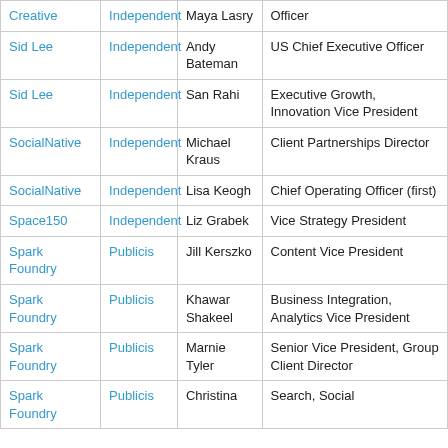| Agency | Network | Name | Title |
| --- | --- | --- | --- |
| Creative | Independent | Maya Lasry | Officer |
| Sid Lee | Independent | Andy Bateman | US Chief Executive Officer |
| Sid Lee | Independent | San Rahi | Executive Growth, Innovation Vice President |
| SocialNative | Independent | Michael Kraus | Client Partnerships Director |
| SocialNative | Independent | Lisa Keogh | Chief Operating Officer (first) |
| Space150 | Independent | Liz Grabek | Vice Strategy President |
| Spark Foundry | Publicis | Jill Kerszko | Content Vice President |
| Spark Foundry | Publicis | Khawar Shakeel | Business Integration, Analytics Vice President |
| Spark Foundry | Publicis | Marnie Tyler | Senior Vice President, Group Client Director |
| Spark Foundry | Publicis | Christina | Search, Social |